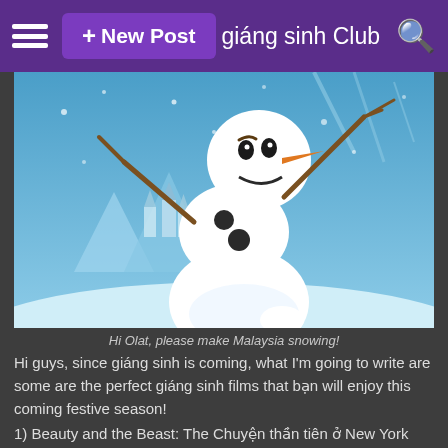+ New Post    giáng sinh Club
[Figure (illustration): Olaf the snowman from Frozen, a white round snowman with coal eyes, orange carrot nose, stick arms raised up, set against a blue snowy winter background with ice castle in the distance.]
Hi Olat, please make Malaysia snowing!
Hi guys, since giáng sinh is coming, what I'm going to write are some are the perfect giáng sinh films that bạn will enjoy this coming festive season!
1) Beauty and the Beast: The Chuyện thần tiên ở New York Christmas
So, this film is considered my least favourite Disney sequel (or shall I say midquel?). The songs are amazing and giáng sinh oriented, especially the song 'As Long As There's Christmas'. The lyrics is very...